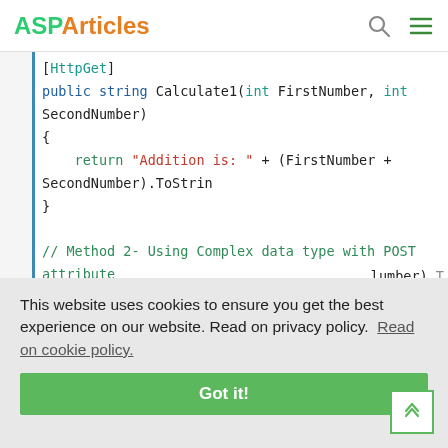ASPArticles
[HttpGet]
public string Calculate1(int FirstNumber, int SecondNumber)
{
    return "Addition is: " + (FirstNumber + SecondNumber).ToString;
}

// Method 2- Using Complex data type with POST attribute
[HttpPost]
public string Calculate2(Calculator obj)
{
This website uses cookies to ensure you get the best experience on our website. Read on privacy policy.  Read on cookie policy.
Got it!